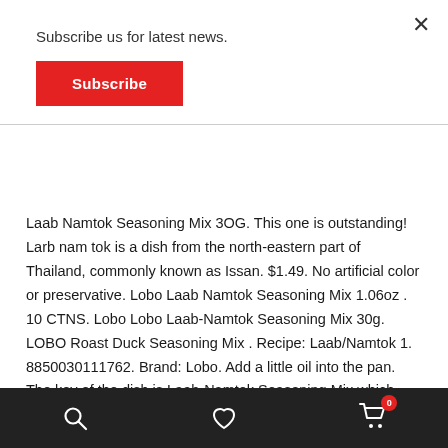Subscribe us for latest news.
Subscribe
Laab Namtok Seasoning Mix 3OG. This one is outstanding! Larb nam tok is a dish from the north-eastern part of Thailand, commonly known as Issan. $1.49. No artificial color or preservative. Lobo Laab Namtok Seasoning Mix 1.06oz . 10 CTNS. Lobo Lobo Laab-Namtok Seasoning Mix 30g. LOBO Roast Duck Seasoning Mix . Recipe: Laab/Namtok 1. 8850030111762. Brand: Lobo. Add a little oil into the pan. The key of the dish is Laab-Namtok Seasoning Mix which adds unique flavour to this... £6.94. In a pan, add in crispy pork lard, fried minced garlic, fried shallot, fried dried chillies, fried kaffir lime leaves and Lobo Laab-Namtok Seasoning Mix. $1.49, meat (beef, chicken or other meat). Just stir fry